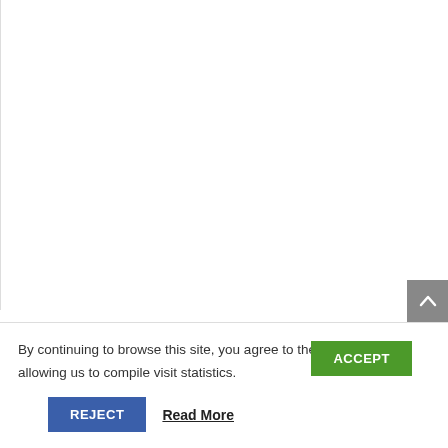[Figure (screenshot): White content area with a gray scroll-to-top button in the bottom-right corner showing an upward chevron arrow.]
By continuing to browse this site, you agree to the use of cookies allowing us to compile visit statistics.
ACCEPT
REJECT
Read More